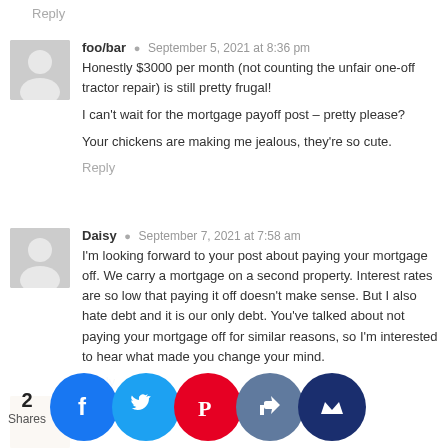Reply
foo/bar · September 5, 2021 at 8:36 pm
Honestly $3000 per month (not counting the unfair one-off tractor repair) is still pretty frugal!

I can't wait for the mortgage payoff post – pretty please?

Your chickens are making me jealous, they're so cute.
Reply
Daisy · September 7, 2021 at 7:58 am
I'm looking forward to your post about paying your mortgage off. We carry a mortgage on a second property. Interest rates are so low that paying it off doesn't make sense. But I also hate debt and it is our only debt. You've talked about not paying your mortgage off for similar reasons, so I'm interested to hear what made you change your mind.
Reply
Mandy · September 7, 2021 at 9:22 am
Comments not shown. Spending ... this ... and how in the past ... since things opened up... definitely th...
2 Shares